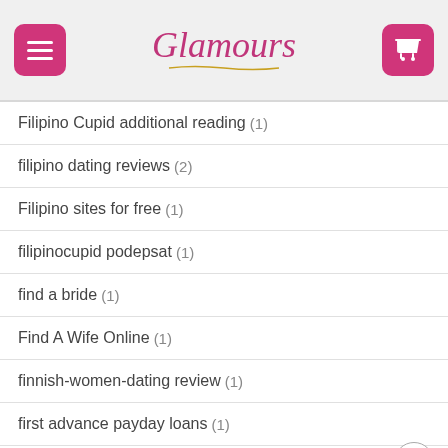Glamours
Filipino Cupid additional reading (1)
filipino dating reviews (2)
Filipino sites for free (1)
filipinocupid podepsat (1)
find a bride (1)
Find A Wife Online (1)
finnish-women-dating review (1)
first advance payday loans (1)
firstmet Kontaktborse (1)
fisch-kopf.com bewertung (1)